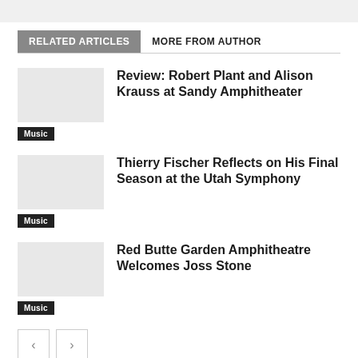RELATED ARTICLES
MORE FROM AUTHOR
Review: Robert Plant and Alison Krauss at Sandy Amphitheater
Music
Thierry Fischer Reflects on His Final Season at the Utah Symphony
Music
Red Butte Garden Amphitheatre Welcomes Joss Stone
Music